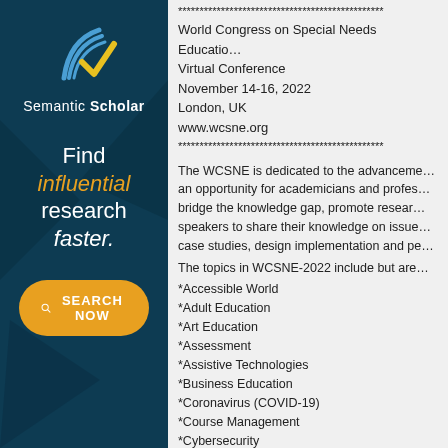[Figure (logo): Semantic Scholar advertisement banner with dark teal background, logo with blue and yellow checkmark, text 'Find influential research faster.' and orange SEARCH NOW button]
****************************************************
World Congress on Special Needs Education — Virtual Conference
November 14-16, 2022
London, UK
www.wcsne.org
****************************************************
The WCSNE is dedicated to the advancement of... an opportunity for academicians and professionals to bridge the knowledge gap, promote research... speakers to share their knowledge on issues... case studies, design implementation and pe...
The topics in WCSNE-2022 include but are...
*Accessible World
*Adult Education
*Art Education
*Assessment
*Assistive Technologies
*Business Education
*Coronavirus (COVID-19)
*Course Management
*Cybersecurity
*Cultural Models of Disability
*Curriculum, Research and Development
*Educational Foundations
*Education Policy and Leadership
*E-Learning